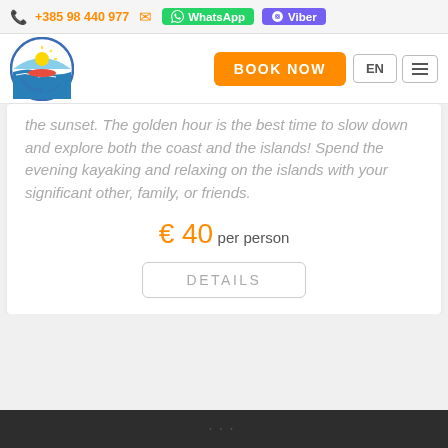+385 98 440 977  WhatsApp  Viber
[Figure (logo): Istra Kayak circular logo with sun, water and kayak imagery]
BOOK NOW
EN
the sunset. The golden hour is the best time to slow down and explore both the coast and the islands! Spend the evening kayaking and relaxing on the islands with your significant other, family, or friends.
€ 40 per person
DETAILS